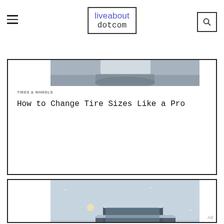liveabout dotcom
[Figure (photo): Partial view of a snowy road scene, top portion of a car]
TIRES & WHEELS
How to Change Tire Sizes Like a Pro
[Figure (photo): Car driving in heavy snowstorm on a road, headlights on, snow-covered vehicle]
TIRES & WHEELS
All Seasons or Snow Tires?